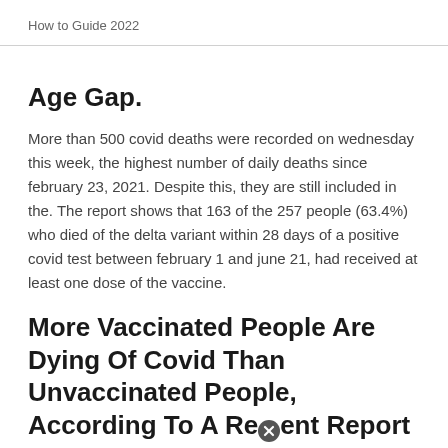How to Guide 2022
Age Gap.
More than 500 covid deaths were recorded on wednesday this week, the highest number of daily deaths since february 23, 2021. Despite this, they are still included in the. The report shows that 163 of the 257 people (63.4%) who died of the delta variant within 28 days of a positive covid test between february 1 and june 21, had received at least one dose of the vaccine.
More Vaccinated People Are Dying Of Covid Than Unvaccinated People, According To A Recent Report From